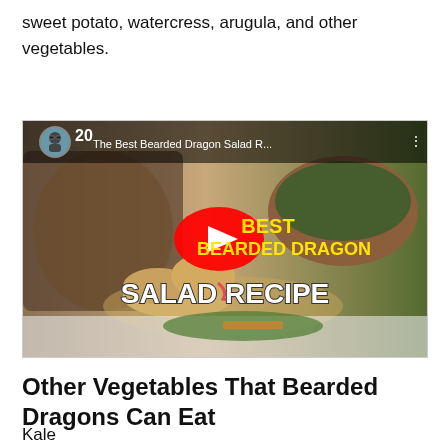sweet potato, watercress, arugula, and other vegetables.
[Figure (screenshot): YouTube video thumbnail showing a bearded dragon eating from a salad bowl. Title overlay reads 'The Best Bearded Dragon Salad R...' with text 'BEST BEARDED DRAGON SALAD RECIPE' and a YouTube play button in center.]
Other Vegetables That Bearded Dragons Can Eat
Kale